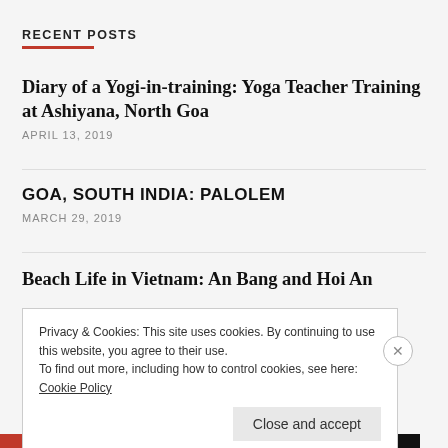RECENT POSTS
Diary of a Yogi-in-training: Yoga Teacher Training at Ashiyana, North Goa
APRIL 13, 2019
GOA, SOUTH INDIA: PALOLEM
MARCH 29, 2019
Beach Life in Vietnam: An Bang and Hoi An
Privacy & Cookies: This site uses cookies. By continuing to use this website, you agree to their use.
To find out more, including how to control cookies, see here: Cookie Policy
Close and accept